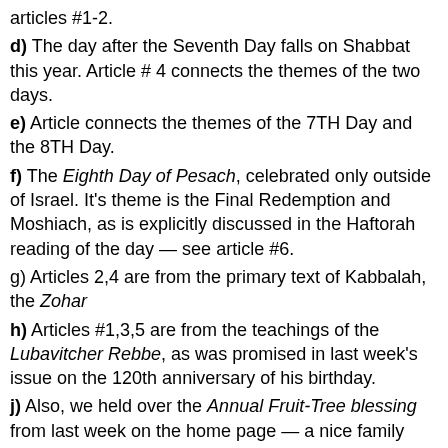articles #1-2.
d) The day after the Seventh Day falls on Shabbat this year. Article # 4 connects the themes of the two days.
e) Article connects the themes of the 7TH Day and the 8TH Day.
f) The Eighth Day of Pesach, celebrated only outside of Israel. It's theme is the Final Redemption and Moshiach, as is explicitly discussed in the Haftorah reading of the day — see article #6.
g) Articles 2,4 are from the primary text of Kabbalah, the Zohar
h) Articles #1,3,5 are from the teachings of the Lubavitcher Rebbe, as was promised in last week's issue on the 120th anniversary of his birthday.
j) Also, we held over the Annual Fruit-Tree blessing from last week on the home page — a nice family activity during the weekdays of the festival, if you haven't recited it yet.
Dedication
*